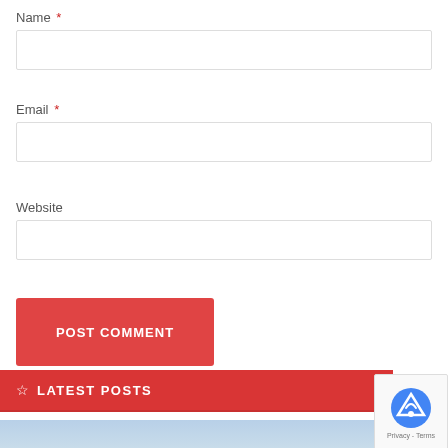Name *
Email *
Website
POST COMMENT
LATEST POSTS